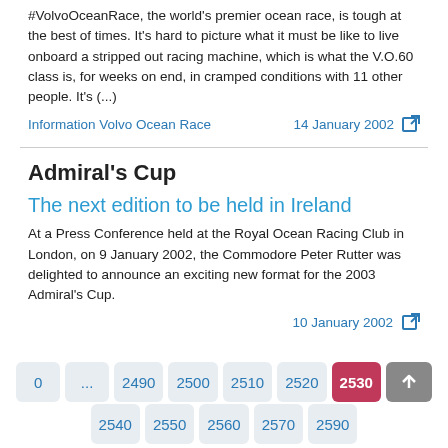#VolvoOceanRace, the world's premier ocean race, is tough at the best of times. It's hard to picture what it must be like to live onboard a stripped out racing machine, which is what the V.O.60 class is, for weeks on end, in cramped conditions with 11 other people. It's (...)
Information Volvo Ocean Race   14 January 2002
Admiral's Cup
The next edition to be held in Ireland
At a Press Conference held at the Royal Ocean Racing Club in London, on 9 January 2002, the Commodore Peter Rutter was delighted to announce an exciting new format for the 2003 Admiral's Cup.
10 January 2002
0
...
2490
2500
2510
2520
2530
2540
2550
2560
2570
2590